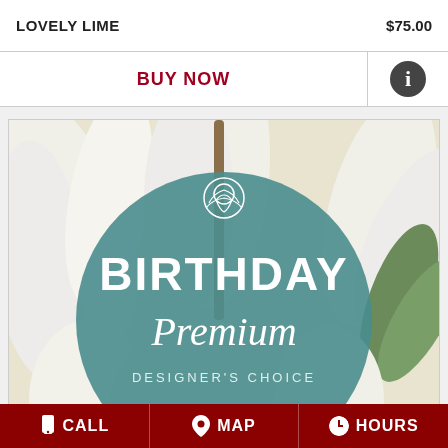| Product | Price |
| --- | --- |
| LOVELY LIME | $75.00 |
| Action | Info |
| --- | --- |
| BUY NOW | ℹ |
[Figure (photo): Birthday Premium Designer's Choice floral arrangement — white lilies with a teal circular overlay badge showing a rose icon, 'BIRTHDAY' in large white text, 'Premium' in script, and 'DESIGNER'S CHOICE' in small caps]
CALL  MAP  HOURS